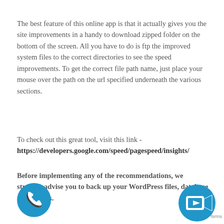The best feature of this online app is that it actually gives you the site improvements in a handy to download zipped folder on the bottom of the screen. All you have to do is ftp the improved system files to the correct directories to see the speed improvements. To get the correct file path name, just place your mouse over the path on the url specified underneath the various sections.
To check out this great tool, visit this link - https://developers.google.com/speed/pagespeed/insights/
Before implementing any of the recommendations, we strongly advise you to back up your WordPress files, database and folders.
[Figure (illustration): Blue circular button with white phone/handset icon]
[Figure (illustration): Blue circular button with white play/video icon and partial video camera shape]